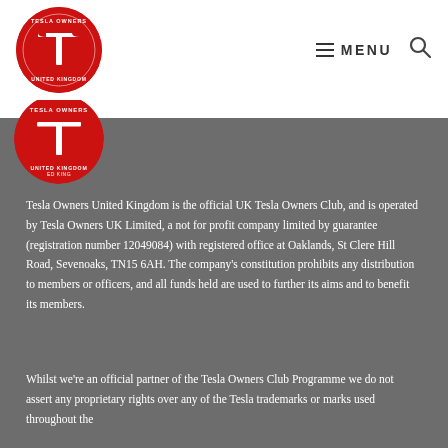[Figure (logo): Tesla Owners United Kingdom circular red logo with Tesla T emblem and text around the border]
MENU (hamburger icon) and search icon navigation bar
Tesla Owners United Kingdom is the official UK Tesla Owners Club, and is operated by Tesla Owners UK Limited, a not for profit company limited by guarantee (registration number 12049084) with registered office at Oaklands, St Clere Hill Road, Sevenoaks, TN15 6AH. The company's constitution prohibits any distribution to members or officers, and all funds held are used to further its aims and to benefit its members.
Whilst we're an official partner of the Tesla Owners Club Programme we do not assert any proprietary rights over any of the Tesla trademarks or marks used throughout the